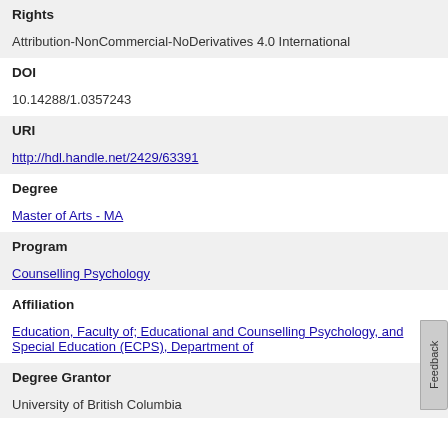Rights
Attribution-NonCommercial-NoDerivatives 4.0 International
DOI
10.14288/1.0357243
URI
http://hdl.handle.net/2429/63391
Degree
Master of Arts - MA
Program
Counselling Psychology
Affiliation
Education, Faculty of; Educational and Counselling Psychology, and Special Education (ECPS), Department of
Degree Grantor
University of British Columbia